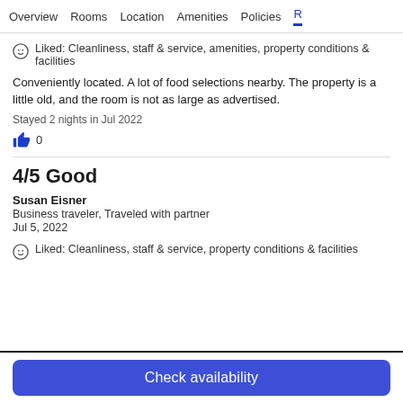Overview  Rooms  Location  Amenities  Policies  R
Liked: Cleanliness, staff & service, amenities, property conditions & facilities
Conveniently located. A lot of food selections nearby. The property is a little old, and the room is not as large as advertised.
Stayed 2 nights in Jul 2022
0
4/5 Good
Susan Eisner
Business traveler, Traveled with partner
Jul 5, 2022
Liked: Cleanliness, staff & service, property conditions & facilities
Check availability